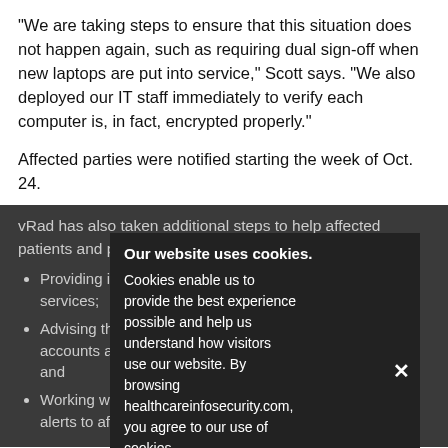"We are taking steps to ensure that this situation does not happen again, such as requiring dual sign-off when new laptops are put into service," Scott says. "We also deployed our IT staff immediately to verify each computer is, in fact, encrypted properly."
Affected parties were notified starting the week of Oct. 24.
vRad has also taken additional steps to help affected patients and physicians. Those steps include
Providing information on credit report and fraud alert services;
Advising those affected to be vigilant in monitoring accounts and credit reports for evidence of identity theft; and
Working with Experian to provide credit monitoring and alerts to affected persons, at vRad's cost.
Our website uses cookies. Cookies enable us to provide the best experience possible and help us understand how visitors use our website. By browsing healthcareinfosecurity.com, you agree to our use of cookies.